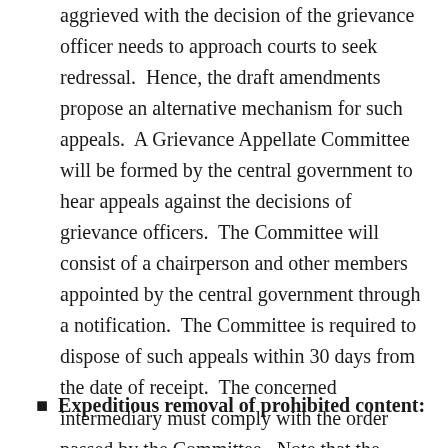aggrieved with the decision of the grievance officer needs to approach courts to seek redressal.  Hence, the draft amendments propose an alternative mechanism for such appeals.  A Grievance Appellate Committee will be formed by the central government to hear appeals against the decisions of grievance officers.  The Committee will consist of a chairperson and other members appointed by the central government through a notification.  The Committee is required to dispose of such appeals within 30 days from the date of receipt.  The concerned intermediary must comply with the order passed by the Committee.  Note that the proposed amendments do not restrict users from directly approaching courts.
Expeditious removal of prohibited content: